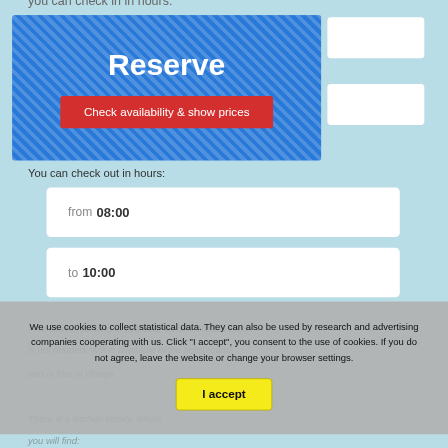you can check in in hours:
[Figure (screenshot): Blue striped Reserve popup with red 'Check availability & show prices' button]
You can check out in hours:
from 08:00
to 10:00
Free private parking is available on site. Reservation is not needed. Wifi is available in the hotel rooms and is free of charge.
There is a kitchen facility, where you will find:
We use cookies to collect statistical data. They can also be used by research and advertising companies cooperating with us. Click "I accept", you consent to the use of cookies. If you do not agree, leave the website or change your browser settings.
I accept